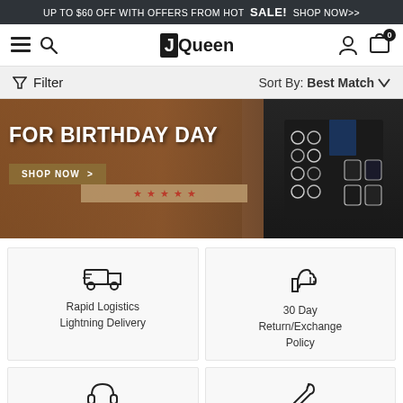UP TO $60 OFF WITH OFFERS FROM HOT SALE! SHOP NOW>>
[Figure (logo): JQueen logo with J in black box and Queen in black text]
Filter | Sort By: Best Match
[Figure (photo): Birthday promotional banner showing hands with gift box wrapped in tape with red stars, and a jewelry display box with rings and watches. Text: FOR BIRTHDAY DAY, SHOP NOW >]
Rapid Logistics Lightning Delivery
30 Day Return/Exchange Policy
7x24 Hours Online
18-Months Warranty